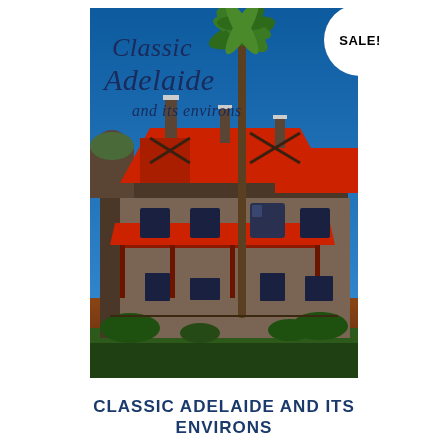[Figure (photo): Book cover of 'Classic Adelaide and its environs' showing a historic Victorian-era mansion with red roof, stone walls, and verandahs, a tall palm tree in the foreground, and a bright blue sky. The title is written in italic script at the top left of the cover. A circular 'SALE!' badge appears in the top right corner.]
CLASSIC ADELAIDE AND ITS ENVIRONS